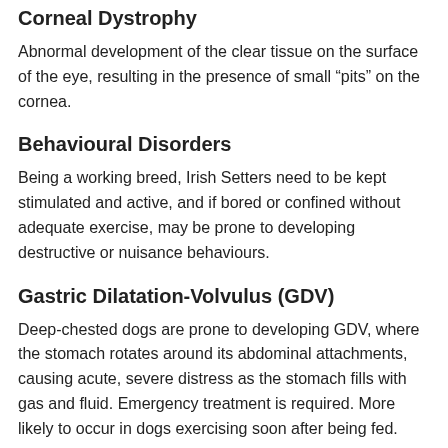Corneal Dystrophy
Abnormal development of the clear tissue on the surface of the eye, resulting in the presence of small “pits” on the cornea.
Behavioural Disorders
Being a working breed, Irish Setters need to be kept stimulated and active, and if bored or confined without adequate exercise, may be prone to developing destructive or nuisance behaviours.
Gastric Dilatation-Volvulus (GDV)
Deep-chested dogs are prone to developing GDV, where the stomach rotates around its abdominal attachments, causing acute, severe distress as the stomach fills with gas and fluid. Emergency treatment is required. More likely to occur in dogs exercising soon after being fed.